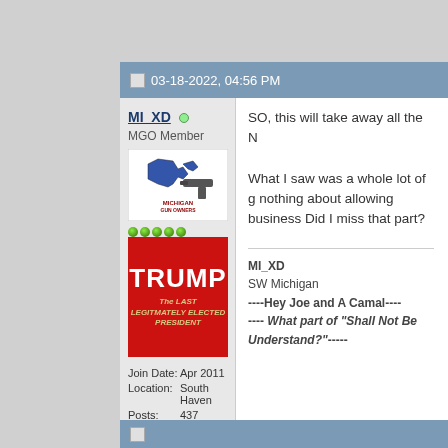03-18-2022, 04:56 PM
MI_XD
MGO Member
Join Date: Apr 2011
Location: South Haven
Posts: 437
[Figure (screenshot): Michigan Gun Owners Member badge with state outline and gun graphic, followed by a red Trump campaign-style image reading 'TRUMP The LAST LEGITMATELY ELECTED PRESIDENT']
SO, this will take away all the N
What I saw was a whole lot of g nothing about allowing business Did I miss that part?
MI_XD
SW Michigan
----Hey Joe and A Camal----
---- What part of "Shall Not Be Understand?"-----